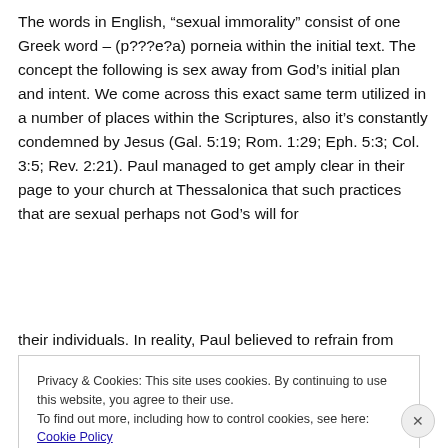The words in English, “sexual immorality” consist of one Greek word – (p???e?a) porneia within the initial text. The concept the following is sex away from God’s initial plan and intent. We come across this exact same term utilized in a number of places within the Scriptures, also it’s constantly condemned by Jesus (Gal. 5:19; Rom. 1:29; Eph. 5:3; Col. 3:5; Rev. 2:21). Paul managed to get amply clear in their page to your church at Thessalonica that such practices that are sexual perhaps not God’s will for their individuals. In reality, Paul believed to refrain from
Privacy & Cookies: This site uses cookies. By continuing to use this website, you agree to their use.
To find out more, including how to control cookies, see here: Cookie Policy